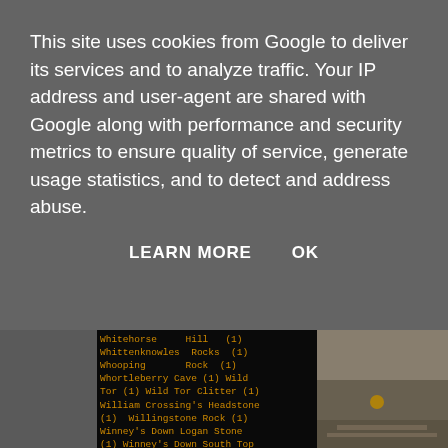This site uses cookies from Google to deliver its services and to analyze traffic. Your IP address and user-agent are shared with Google along with performance and security metrics to ensure quality of service, generate usage statistics, and to detect and address abuse.
LEARN MORE    OK
Whitehorse Hill (1) Whittenknowles Rocks (1) Whooping Rock (1) Whortleberry Cave (1) Wild Tor (1) Wild Tor Clitter (1) William Crossing's Headstone (1) Willingstone Rock (1) Winney's Down Logan Stone (1) Winney's Down South Top (1) Winter Tor (2) Wittaburrow (1) Wollake Tor (1) Woodcock Tor (1) Wray Cleave Middle Tor (1) Wray Cleave South Tor (1) Wray Cleave Wood Tor (1) Yes Tor (Okehampton) (2) Yes Tor (Walkhampton) (2) Yonder Piphole Tor (1)
[Figure (photo): Close-up photo of rocky ground, blurred background with green and orange/yellow tones. Possibly rocks or gravel on a path with some lichen.]